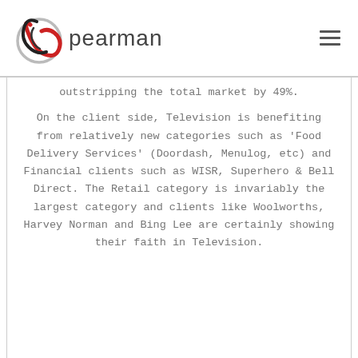[Figure (logo): Pearman logo with circular swirl graphic in red and black, followed by the text 'pearman' in dark sans-serif font]
outstripping the total market by 49%.
On the client side, Television is benefiting from relatively new categories such as 'Food Delivery Services' (Doordash, Menulog, etc) and Financial clients such as WISR, Superhero & Bell Direct. The Retail category is invariably the largest category and clients like Woolworths, Harvey Norman and Bing Lee are certainly showing their faith in Television.